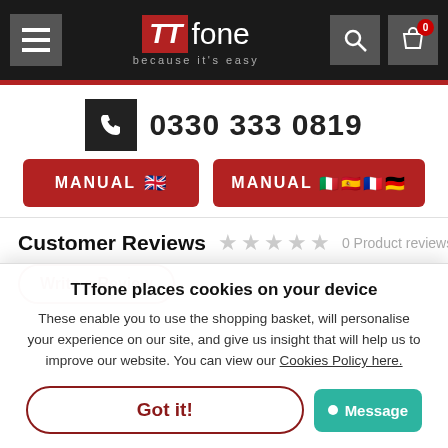TTfone – because it's easy | Navigation bar with hamburger menu, logo, search and cart
0330 333 0819
MANUAL (UK flag)
MANUAL (EU/International flags)
Customer Reviews ☆☆☆☆☆ 0 Product reviews
Write a Review
TTfone places cookies on your device
These enable you to use the shopping basket, will personalise your experience on our site, and give us insight that will help us to improve our website. You can view our Cookies Policy here.
Got it!
Message